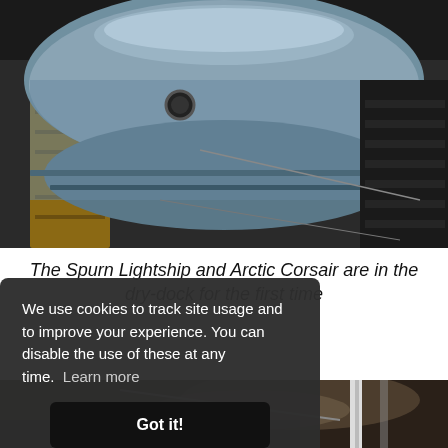[Figure (photo): Aerial/overhead view of a boat hull (painted blue-grey) in a dry-dock, with wooden supports and dark dock floor visible around it.]
The Spurn Lightship and Arctic Corsair are in the dry-dock for the first time
[Figure (photo): Dark industrial dock scene with misty/foggy atmosphere, pipes and metal structures visible, partially obscured by cookie consent overlay.]
We use cookies to track site usage and to improve your experience. You can disable the use of these at any time. Learn more
Got it!